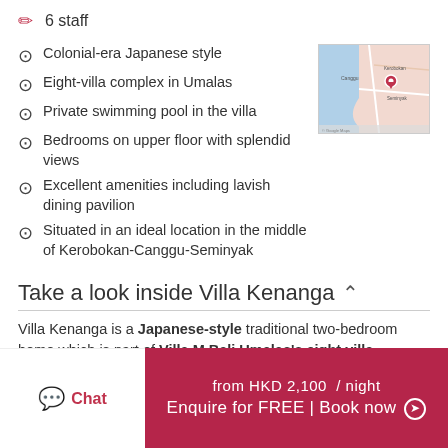6 staff
Colonial-era Japanese style
Eight-villa complex in Umalas
Private swimming pool in the villa
Bedrooms on upper floor with splendid views
Excellent amenities including lavish dining pavilion
Situated in an ideal location in the middle of Kerobokan-Canggu-Seminyak
[Figure (map): Map thumbnail showing Kerobokan-Canggu-Seminyak area in Bali with a location pin marker]
Take a look inside Villa Kenanga
Villa Kenanga is a Japanese-style traditional two-bedroom home which is part of Villa M Bali Umalas's eight villa
Chat
from HKD 2,100  / night
Enquire for FREE | Book now